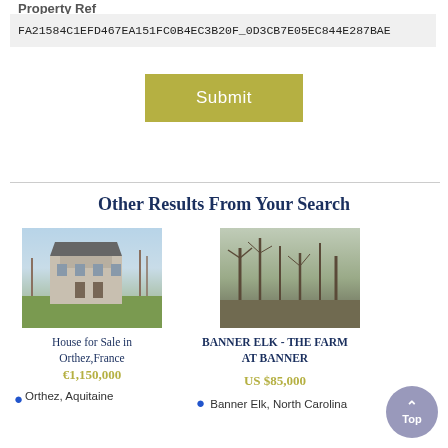Property Ref
FA21584C1EFD467EA151FC0B4EC3B20F_0D3CB7E05EC844E287BAE
Submit
Other Results From Your Search
[Figure (photo): House for Sale in Orthez, France — stone manor house with lawn and bare trees]
House for Sale in Orthez,France
€1,150,000
Orthez, Aquitaine
[Figure (photo): Banner Elk - The Farm at Banner — wooded land property with bare trees]
BANNER ELK - THE FARM AT BANNER
US $85,000
Banner Elk, North Carolina